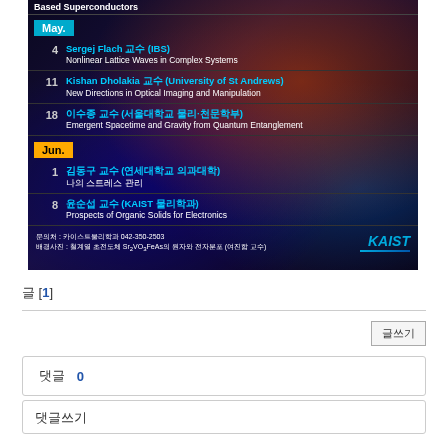[Figure (photo): KAIST Physics colloquium schedule poster for May-June. Black background with colorful thermal/spectral image. Lists speakers: Sergej Flach (IBS) May 4, Kishan Dholakia (University of St Andrews) May 11, 이수종 교수 (서울대학교) May 18, 김동구 교수 (연세대학교 의과대학) Jun 1, 윤순섭 교수 (KAIST 물리학과) Jun 8. Contact: 카이스트 물리학과 042-350-2503. KAIST logo bottom right.]
글 [1]
글쓰기
댓글 0
댓글쓰기